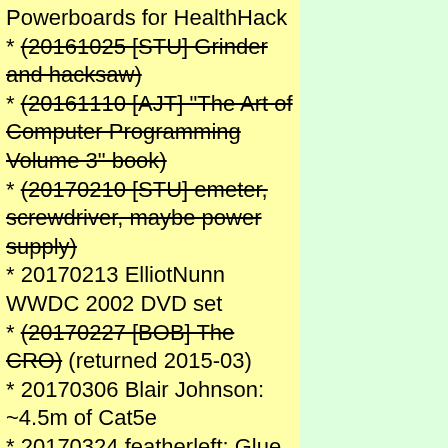Powerboards for HealthHack
* --(20161025 [STU] Grinder and hacksaw)--
* --(20161110 [AJT] "The Art of Computer Programming Volume 3" book)--
* --(20170210 [STU] emeter, screwdriver, maybe power supply)--
* 20170213 ElliotNunn WWDC 2002 DVD set
* --(20170227 [BOB] The CRO)-- (returned 2015-03)
* 20170306 Blair Johnson: ~4.5m of Cat5e
* 20170324 featherleft: Glue gun, screwdriver
* --(20170327 [STU] The good screwdriver)--
* 20170407 [TPG] GamePort joystick
* 20170703 [NTU] (original donor) Lego Mindstorms